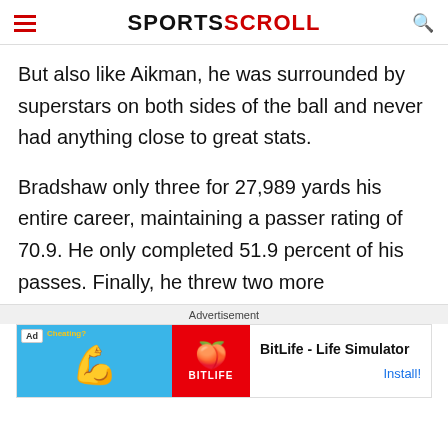SPORTSCROLL
But also like Aikman, he was surrounded by superstars on both sides of the ball and never had anything close to great stats.
Bradshaw only three for 27,989 yards his entire career, maintaining a passer rating of 70.9. He only completed 51.9 percent of his passes. Finally, he threw two more
Advertisement
[Figure (other): Ad banner: BitLife - Life Simulator with Install! button]